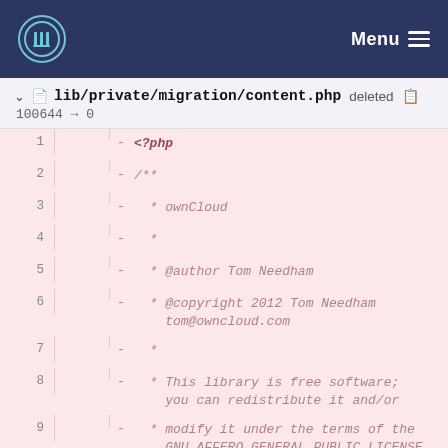Menu
lib/private/migration/content.php deleted
100644 → 0
1  - <?php
2  - /**
3  -   * ownCloud
4  -   *
5  -   * @author Tom Needham
6  -   * @copyright 2012 Tom Needham tom@owncloud.com
7  -   *
8  -   * This library is free software; you can redistribute it and/or
9  -   * modify it under the terms of the GNU AFFERO GENERAL PUBLIC LICENSE
10 -   * License as published by the Free Software Foundation; either
11 -   * version 3 of the License, or any later version.
12 -   *